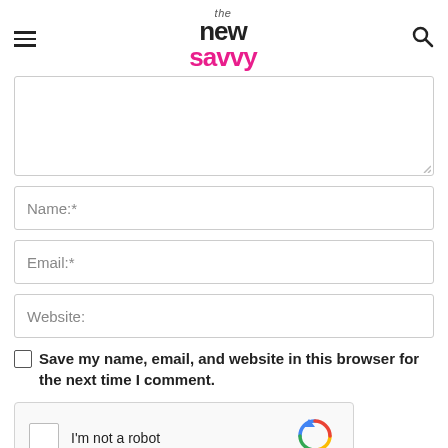the new savvy
[Figure (screenshot): Comment form with textarea (partially visible), Name, Email, Website input fields, a save info checkbox, and a reCAPTCHA widget]
Save my name, email, and website in this browser for the next time I comment.